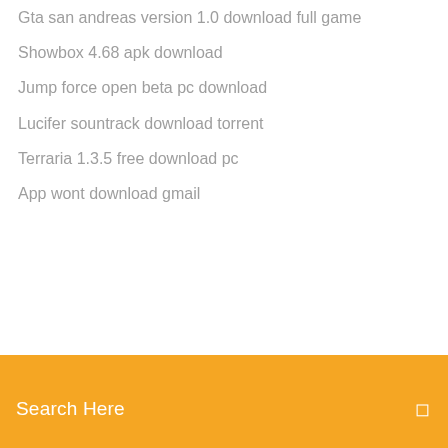Gta san andreas version 1.0 download full game
Showbox 4.68 apk download
Jump force open beta pc download
Lucifer sountrack download torrent
Terraria 1.3.5 free download pc
App wont download gmail
[Figure (screenshot): Orange search bar overlay with text 'Search Here' and a search icon on the right]
Behringer xr18 asio driver download
Pdfill free pdf tools download
Ps4 wolfenstein 2 game save download
Microsoft silverlight for android free download
Cry freedom torrent download
Resident evil 2 mr x nemesis mod download
Adobe photoshop cs middle east version update download
Download app for stock trading
Romance 1999 free download torrent movie
Ionic app dev download